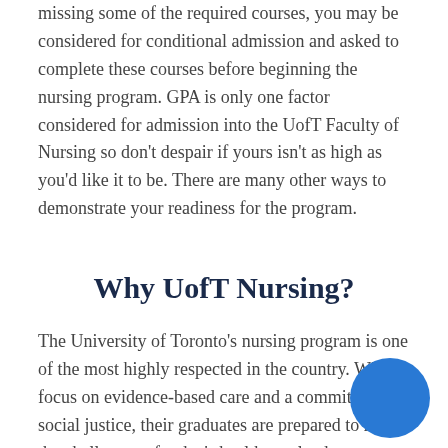missing some of the required courses, you may be considered for conditional admission and asked to complete these courses before beginning the nursing program. GPA is only one factor considered for admission into the UofT Faculty of Nursing so don't despair if yours isn't as high as you'd like it to be. There are many other ways to demonstrate your readiness for the program.
Why UofT Nursing?
The University of Toronto's nursing program is one of the most highly respected in the country. With a focus on evidence-based care and a commitment to social justice, their graduates are prepared to meet the challenges of today's healthcare landscape. Their students have the opportunity to gain clinical experience in a variety of settings, from hospitals and community health centres to home care and long-term